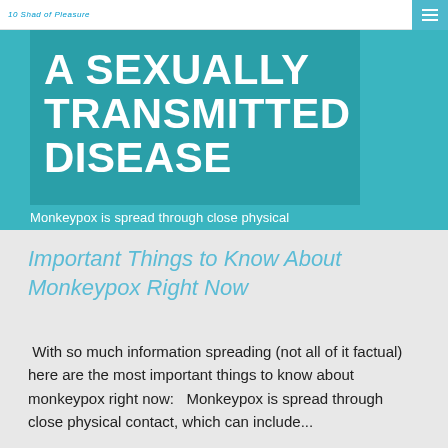10 Shad of Pleasure / ≡
A SEXUALLY TRANSMITTED DISEASE
Monkeypox is spread through close physical
Important Things to Know About Monkeypox Right Now
With so much information spreading (not all of it factual) here are the most important things to know about monkeypox right now:   Monkeypox is spread through close physical contact, which can include...